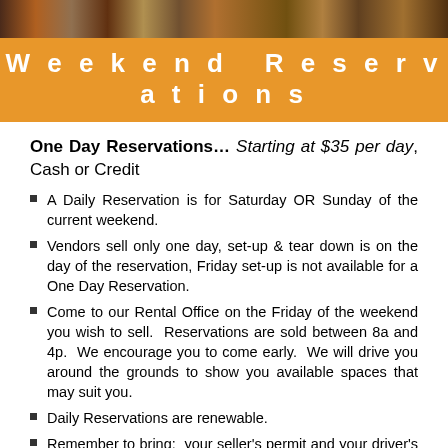[Figure (photo): Horizontal photo strip of people at a market/event]
Weekend Reservations
One Day Reservations… Starting at $35 per day, Cash or Credit
A Daily Reservation is for Saturday OR Sunday of the current weekend.
Vendors sell only one day, set-up & tear down is on the day of the reservation, Friday set-up is not available for a One Day Reservation.
Come to our Rental Office on the Friday of the weekend you wish to sell.  Reservations are sold between 8a and 4p.  We encourage you to come early.  We will drive you around the grounds to show you available spaces that may suit you.
Daily Reservations are renewable.
Remember to bring:  your seller's permit and your driver's license to make the reservation.
If you are not required to have a seller's permit, you